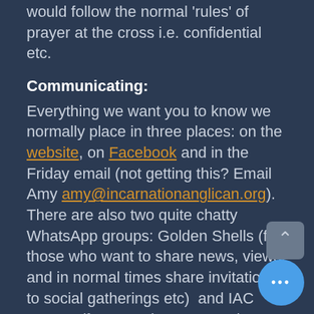would follow the normal 'rules' of prayer at the cross i.e. confidential etc.
Communicating:
Everything we want you to know we normally place in three places: on the website, on Facebook and in the Friday email (not getting this? Email Amy amy@incarnationanglican.org). There are also two quite chatty WhatsApp groups: Golden Shells (for those who want to share news, views, and in normal times share invitations to social gatherings etc)  and IAC women (for mutual support and prayer). If you would like to join either of these please email me (liz@incarnationanglican.org). Finally, our Instagram is a place w... we notice and record moments of